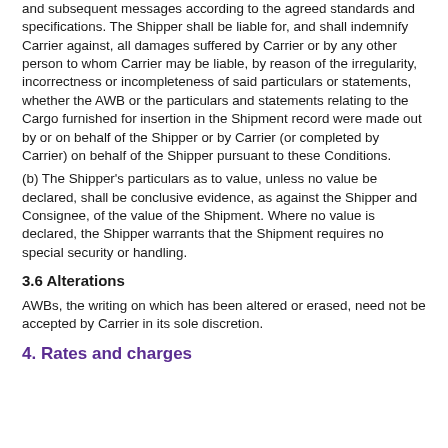and subsequent messages according to the agreed standards and specifications. The Shipper shall be liable for, and shall indemnify Carrier against, all damages suffered by Carrier or by any other person to whom Carrier may be liable, by reason of the irregularity, incorrectness or incompleteness of said particulars or statements, whether the AWB or the particulars and statements relating to the Cargo furnished for insertion in the Shipment record were made out by or on behalf of the Shipper or by Carrier (or completed by Carrier) on behalf of the Shipper pursuant to these Conditions.
(b) The Shipper's particulars as to value, unless no value be declared, shall be conclusive evidence, as against the Shipper and Consignee, of the value of the Shipment. Where no value is declared, the Shipper warrants that the Shipment requires no special security or handling.
3.6 Alterations
AWBs, the writing on which has been altered or erased, need not be accepted by Carrier in its sole discretion.
4. Rates and charges